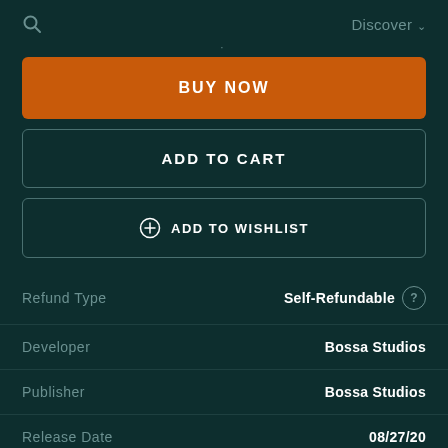Discover
·
BUY NOW
ADD TO CART
ADD TO WISHLIST
| Property | Value |
| --- | --- |
| Refund Type | Self-Refundable |
| Developer | Bossa Studios |
| Publisher | Bossa Studios |
| Release Date | 08/27/20 |
| Platform |  |